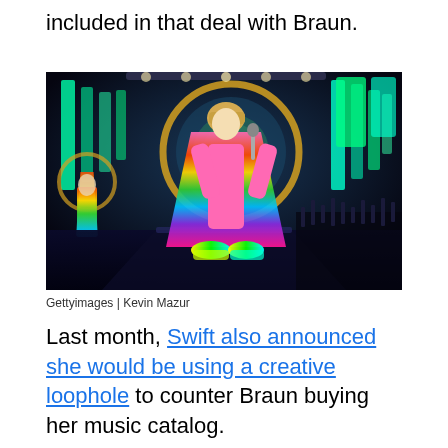included in that deal with Braun.
[Figure (photo): Concert photo of a performer on stage wearing a rainbow-colored outfit and coat, holding a microphone, with colorful LED lights and stage backdrop. Credit: Gettyimages | Kevin Mazur]
Gettyimages | Kevin Mazur
Last month, Swift also announced she would be using a creative loophole to counter Braun buying her music catalog.